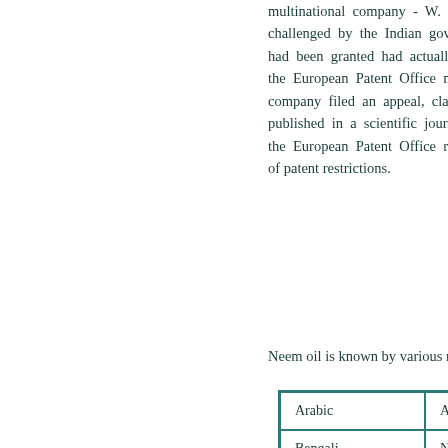multinational company - W. R. Grace - was challenged by the Indian government. The patent had been granted had actually been found, and the European Patent Office made a decision. The company filed an appeal, claiming the invention was published in a scientific journal. After examination, the European Patent Office revoked it as a result of patent restrictions.
Neem oil is known by various names...
| Language | Name(s) |
| --- | --- |
| Arabic | Azad Darkhtu... |
| Bengali | Neem, Nim, N... |
| Burmese | Tamabin, Kam... |
| English | Margosa, Nee... |
| French | Azarirae d'Ind... |
| German | Nimbaum, Ne... |